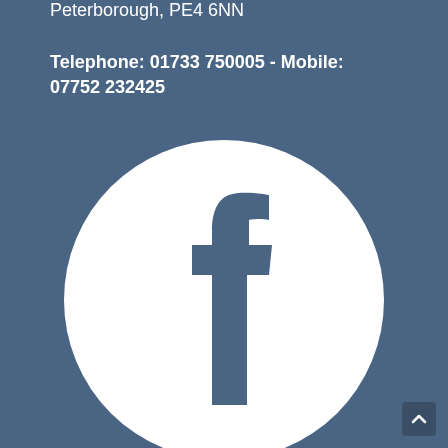Peterborough, PE4 6NN
Telephone: 01733 750005 - Mobile: 07752 232425
[Figure (logo): Facebook logo: white circle on steel blue background with the Facebook 'f' icon in steel blue color]